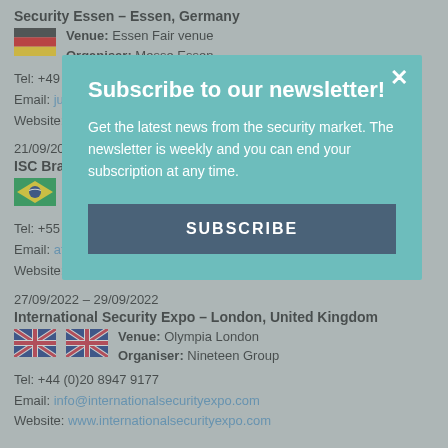Security Essen – Essen, Germany
Venue: Essen Fair venue
Organiser: Messe Essen
Tel: +49 (0)201 72 44-524
Email: julia.jacob@messe-essen.de
Website: www.security-essen.de
21/09/2022 – 23/09/2022
ISC Brasil – São Paulo, Brazil
Venue: Expo Center Norte
Organiser: RX Brazil
Tel: +55 11 4659 0012
Email: atendimentovisitante@rxglobal.com
Website: www.iscbrasil.com.br
27/09/2022 – 29/09/2022
International Security Expo – London, United Kingdom
Venue: Olympia London
Organiser: Nineteen Group
Tel: +44 (0)20 8947 9177
Email: info@internationalsecurityexpo.com
Website: www.internationalsecurityexpo.com
[Figure (infographic): Newsletter subscription modal overlay with teal background, title 'Subscribe to our newsletter!', body text about weekly security market news, and a SUBSCRIBE button]